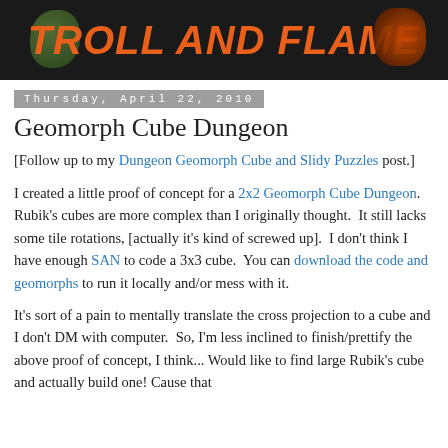[Figure (logo): Troll and Flame blog header banner with orange stylized text on dark background]
Thursday, April 22, 2010
Geomorph Cube Dungeon
[Follow up to my Dungeon Geomorph Cube and Slidy Puzzles post.]
I created a little proof of concept for a 2x2 Geomorph Cube Dungeon. Rubik's cubes are more complex than I originally thought.  It still lacks some tile rotations, [actually it's kind of screwed up].  I don't think I have enough SAN to code a 3x3 cube.  You can download the code and geomorphs to run it locally and/or mess with it.
It's sort of a pain to mentally translate the cross projection to a cube and I don't DM with computer.  So, I'm less inclined to finish/prettify the above proof of concept, I think... Would like to find large Rubik's cube and actually build one! Cause that